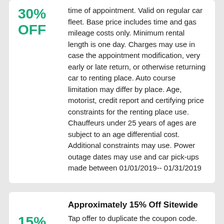30% OFF
time of appointment. Valid on regular car fleet. Base price includes time and gas mileage costs only. Minimum rental length is one day. Charges may use in case the appointment modification, very early or late return, or otherwise returning car to renting place. Auto course limitation may differ by place. Age, motorist, credit report and certifying price constraints for the renting place use. Chauffeurs under 25 years of ages are subject to an age differential cost. Additional constraints may use. Power outage dates may use and car pick-ups made between 01/01/2019-- 01/31/2019
Approximately 15% Off Sitewide
15% OFF
Tap offer to duplicate the coupon code. Keep in mind to paste code when you look into. Online just.